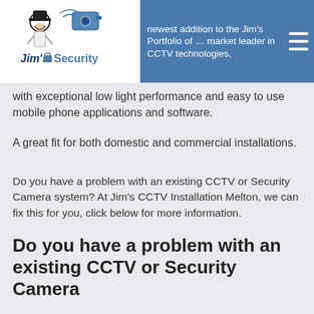newest addition to the Jim's Portfolio of … market leader in CCTV technologies,
[Figure (logo): Jim's Security logo with cartoon man figure and security camera icon]
with exceptional low light performance and easy to use mobile phone applications and software.
A great fit for both domestic and commercial installations.
Do you have a problem with an existing CCTV or Security Camera system? At Jim's CCTV Installation Melton, we can fix this for you, click below for more information.
Do you have a problem with an existing CCTV or Security Camera